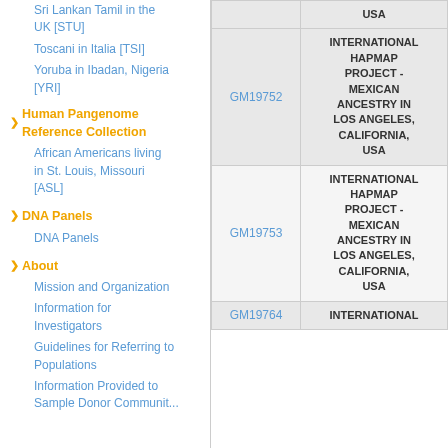Sri Lankan Tamil in the UK [STU]
Toscani in Italia [TSI]
Yoruba in Ibadan, Nigeria [YRI]
Human Pangenome Reference Collection
African Americans living in St. Louis, Missouri [ASL]
DNA Panels
DNA Panels
About
Mission and Organization
Information for Investigators
Guidelines for Referring to Populations
Information Provided to Sample Donor Communities
| ID | Description |
| --- | --- |
|  | USA |
| GM19752 | INTERNATIONAL HAPMAP PROJECT - MEXICAN ANCESTRY IN LOS ANGELES, CALIFORNIA, USA |
| GM19753 | INTERNATIONAL HAPMAP PROJECT - MEXICAN ANCESTRY IN LOS ANGELES, CALIFORNIA, USA |
| GM19764 | INTERNATIONAL HAPMAP... |